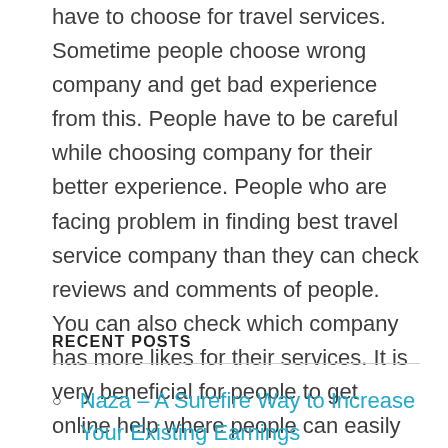have to choose for travel services. Sometime people choose wrong company and get bad experience from this. People have to be careful while choosing company for their better experience. People who are facing problem in finding best travel service company than they can check reviews and comments of people. You can also check which company has more likes for their services. It is very beneficial for people to get online help where people can easily find any type of services which they want at that time. You have to get more knowledge about online services.
RECENT POSTS
Naza – A Surefire Way to Increase Your Existing Earnings